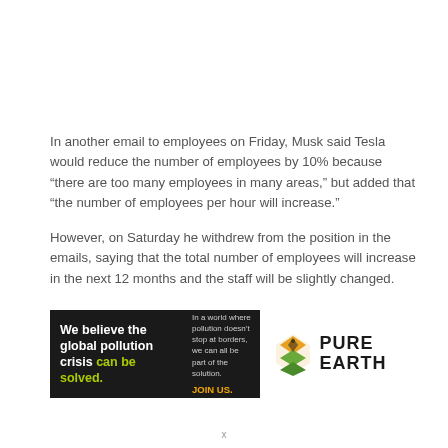In another email to employees on Friday, Musk said Tesla would reduce the number of employees by 10% because “there are too many employees in many areas,” but added that “the number of employees per hour will increase.”
However, on Saturday he withdrew from the position in the emails, saying that the total number of employees will increase in the next 12 months and the staff will be slightly changed.
[Figure (infographic): Pure Earth advertisement banner. Black left section reads 'We believe the global pollution crisis can be solved.' in white and yellow-green text. Middle section reads 'In a world where pollution doesn’t stop at borders, we can all be part of the solution.' with 'JOIN US.' in orange. Right white section shows a diamond-shaped logo with layers and 'PURE EARTH' in bold black text.]